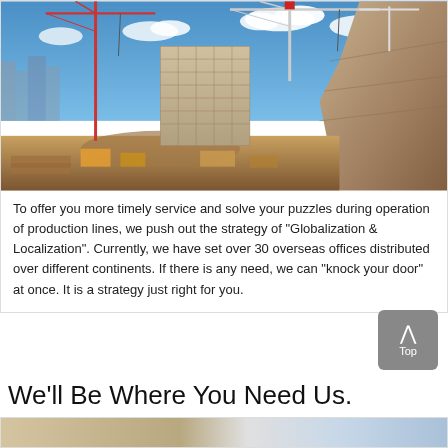[Figure (photo): Construction site photo showing a large building under construction with multiple tower cranes against a blue sky with clouds, and a rock face/cliff on the right side.]
To offer you more timely service and solve your puzzles during operation of production lines, we push out the strategy of "Globalization & Localization". Currently, we have set over 30 overseas offices distributed over different continents. If there is any need, we can "knock your door" at once. It is a strategy just right for you.
We'll Be Where You Need Us.
[Figure (photo): Partial view of another construction or industrial site photo at the bottom of the page, cropped.]